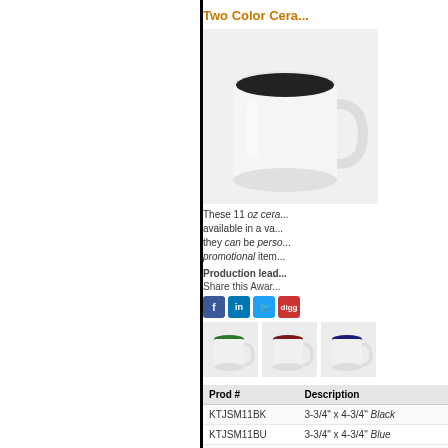Two Color Cera...
These 11 oz cera... available in a va... they can be perso... promotional item...
Production lead...
Share this Awar...
[Figure (photo): White ceramic mug with black interior]
[Figure (photo): Three small mugs with green, maroon, and blue interiors]
| Prod # | Description |
| --- | --- |
| KTJSM11BK | 3-3/4" x 4-3/4" Black |
| KTJSM11BU | 3-3/4" x 4-3/4" Blue |
| KTJSM11GN | 3-3/4" x 4-3/4" Green |
| KTJSM11MN | 3-3/4" x 4-3/4" Maroon |
Versatile Clock B...
The engraving p... Laser engravable... Individually gift... life. Batteries inc...
[Figure (photo): Versatile clock book award with engraving plate and clock face]